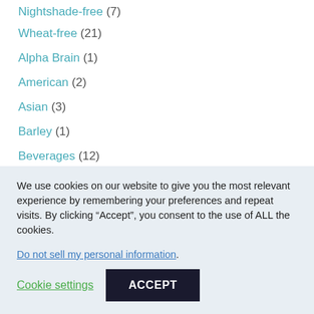Nightshade-free (7)
Wheat-free (21)
Alpha Brain (1)
American (2)
Asian (3)
Barley (1)
Beverages (12)
Book Reviews (42)
Breads (15)
British (2)
We use cookies on our website to give you the most relevant experience by remembering your preferences and repeat visits. By clicking “Accept”, you consent to the use of ALL the cookies.
Do not sell my personal information.
Cookie settings  ACCEPT